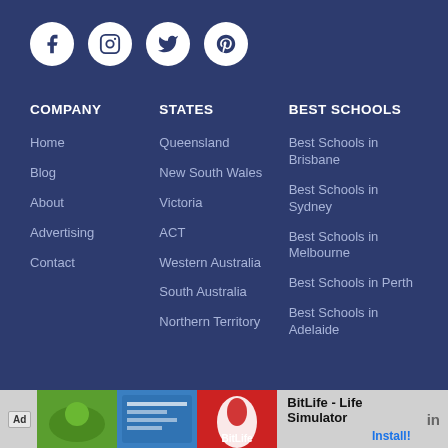[Figure (infographic): Social media icon buttons: Facebook, Instagram, Twitter, Pinterest — white circles on dark blue background]
COMPANY
Home
Blog
About
Advertising
Contact
STATES
Queensland
New South Wales
Victoria
ACT
Western Australia
South Australia
Northern Territory
BEST SCHOOLS
Best Schools in Brisbane
Best Schools in Sydney
Best Schools in Melbourne
Best Schools in Perth
Best Schools in Adelaide
[Figure (screenshot): Ad banner at bottom: BitLife - Life Simulator app advertisement with green, blue, and red imagery and Install button]